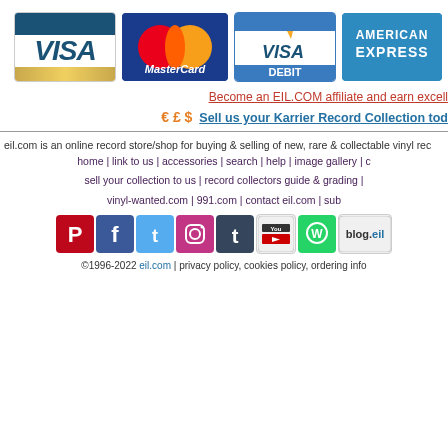[Figure (logo): Payment method logos: Visa, MasterCard, Visa Debit, American Express]
Become an EIL.COM affiliate and earn excell...
€ £ $  Sell us your Karrier Record Collection tod...
eil.com is an online record store/shop for buying & selling of new, rare & collectable vinyl rec...
home | link to us | accessories | search | help | image gallery | c... | sell your collection to us | record collectors guide & grading | ... vinyl-wanted.com | 991.com | contact eil.com | sub...
[Figure (logo): Social media icons: Pinterest, Facebook, Twitter, Instagram, Tumblr, YouTube, WhatsApp, blog.eil]
©1996-2022 eil.com | privacy policy, cookies policy, ordering info...